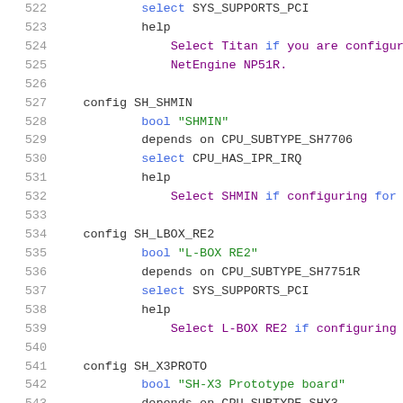Source code listing lines 522-543, Linux kernel Kconfig file for SH architecture board configurations
522    select SYS_SUPPORTS_PCI
523    help
524        Select Titan if you are configuring f
525        NetEngine NP51R.
526
527 config SH_SHMIN
528        bool "SHMIN"
529        depends on CPU_SUBTYPE_SH7706
530        select CPU_HAS_IPR_IRQ
531        help
532            Select SHMIN if configuring for the SH
533
534 config SH_LBOX_RE2
535        bool "L-BOX RE2"
536        depends on CPU_SUBTYPE_SH7751R
537        select SYS_SUPPORTS_PCI
538        help
539            Select L-BOX RE2 if configuring for th
540
541 config SH_X3PROTO
542        bool "SH-X3 Prototype board"
543        depends on CPU_SUBTYPE_SHX3